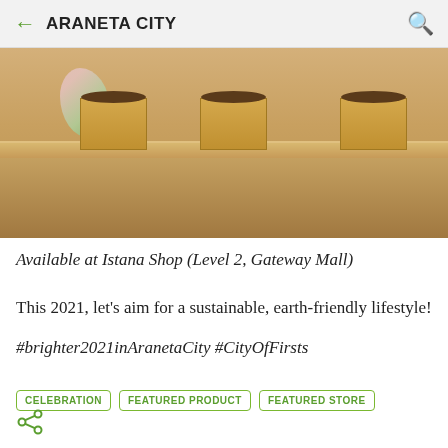ARANETA CITY
[Figure (photo): Wooden shelf display with kraft paper boxes containing products, with floral decorative elements in the background]
Available at Istana Shop (Level 2, Gateway Mall)
This 2021, let's aim for a sustainable, earth-friendly lifestyle!
#brighter2021inAranetaCity #CityOfFirsts
CELEBRATION   FEATURED PRODUCT   FEATURED STORE